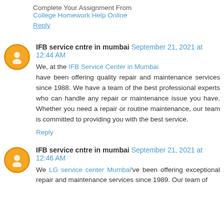Complete Your Assignment From
College Homework Help Online
Reply
IFB service cntre in mumbai September 21, 2021 at 12:44 AM
We, at the IFB Service Center in Mumbai have been offering quality repair and maintenance services since 1988. We have a team of the best professional experts who can handle any repair or maintenance issue you have. Whether you need a repair or routine maintenance, our team is committed to providing you with the best service.
Reply
IFB service cntre in mumbai September 21, 2021 at 12:46 AM
We LG service center Mumbai've been offering exceptional repair and maintenance services since 1989. Our team of